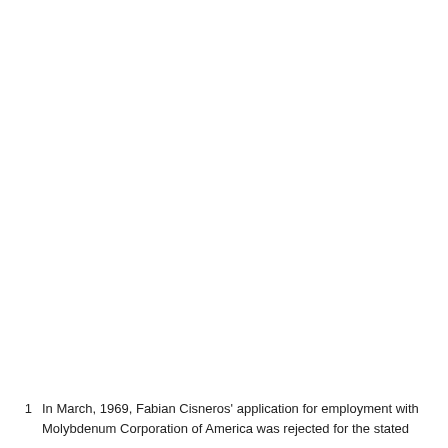1  In March, 1969, Fabian Cisneros' application for employment with Molybdenum Corporation of America was rejected for the stated